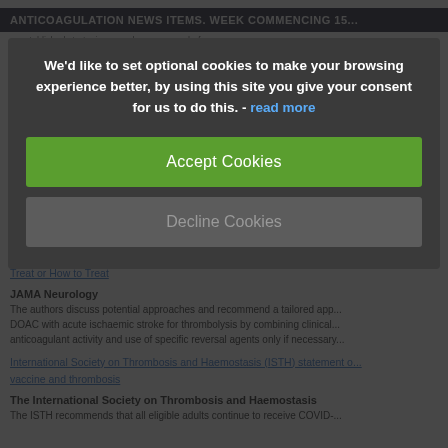ANTICOAGULATION NEWS ITEMS. WEEK COMMENCING 15...
We'd like to set optional cookies to make your browsing experience better, by using this site you give your consent for us to do this. - read more
Accept Cookies
Decline Cookies
Administering Thrombolysis for Acute Ischemic Stroke in Patients Taking... Treat or How to Treat
JAMA Neurology
The authors discuss potential approaches and recommend a tailored app... DOAC with acute ischaemic stroke for thrombolysis by combining clinical... anticoagulant activity and use of specific reversal agents only if necessary...
International Society on Thrombosis and Haemostasis (ISTH) statement o... vaccine and thrombosis
The International Society on Thrombosis and Haemostasis
The ISTH recommends that all eligible adults continue to receive COVID-...